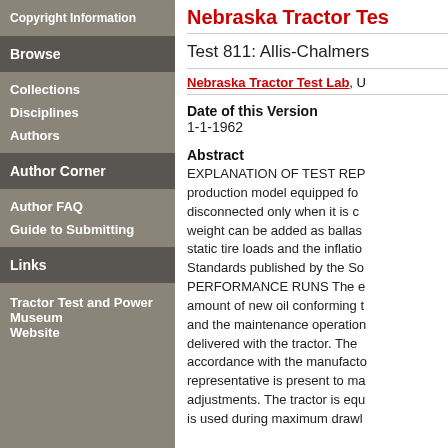Copyright Information
Browse
Collections
Disciplines
Authors
Author Corner
Author FAQ
Guide to Submitting
Links
Tractor Test and Power Museum Website
Nebraska Tractor Tes…
Test 811: Allis-Chalmers…
Nebraska Tractor Test Lab, U…
Date of this Version
1-1-1962
Abstract
EXPLANATION OF TEST REP… production model equipped fo… disconnected only when it is c… weight can be added as ballas… static tire loads and the inflatio… Standards published by the So… PERFORMANCE RUNS The e… amount of new oil conforming t… and the maintenance operation… delivered with the tractor. The … accordance with the manufacto… representative is present to ma… adjustments. The tractor is equ… is used during maximum drawl…